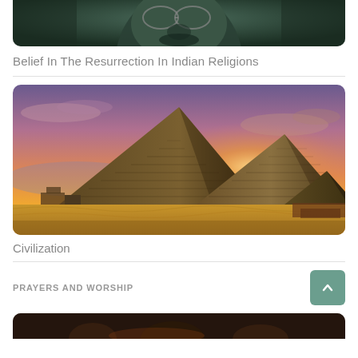[Figure (photo): Partial top view of a dark stone Buddha or deity statue with glasses, cropped at top of page]
Belief In The Resurrection In Indian Religions
[Figure (photo): Egyptian pyramids at Giza silhouetted against a dramatic orange and purple sunset sky with golden desert sand in foreground]
Civilization
PRAYERS AND WORSHIP
[Figure (photo): Partial bottom image, dark, with hints of people or figures, cropped at bottom of page]